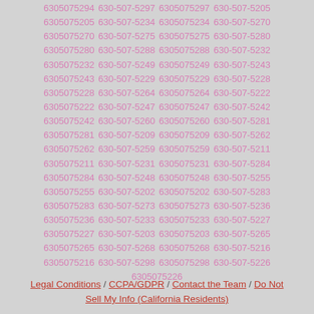6305075294 630-507-5297 6305075297 630-507-5205 6305075205 630-507-5234 6305075234 630-507-5270 6305075270 630-507-5275 6305075275 630-507-5280 6305075280 630-507-5288 6305075288 630-507-5232 6305075232 630-507-5249 6305075249 630-507-5243 6305075243 630-507-5229 6305075229 630-507-5228 6305075228 630-507-5264 6305075264 630-507-5222 6305075222 630-507-5247 6305075247 630-507-5242 6305075242 630-507-5260 6305075260 630-507-5281 6305075281 630-507-5209 6305075209 630-507-5262 6305075262 630-507-5259 6305075259 630-507-5211 6305075211 630-507-5231 6305075231 630-507-5284 6305075284 630-507-5248 6305075248 630-507-5255 6305075255 630-507-5202 6305075202 630-507-5283 6305075283 630-507-5273 6305075273 630-507-5236 6305075236 630-507-5233 6305075233 630-507-5227 6305075227 630-507-5203 6305075203 630-507-5265 6305075265 630-507-5268 6305075268 630-507-5216 6305075216 630-507-5298 6305075298 630-507-5226 6305075226
Legal Conditions / CCPA/GDPR / Contact the Team / Do Not Sell My Info (California Residents)